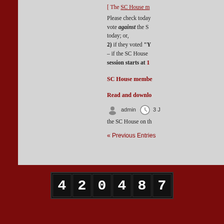Please check today's vote against the SC ... today; or,
2) if they voted "Y" – if the SC House – session starts at 1...
SC House membe...
Read and downlo...
admin  3 J... the SC House on th...
« Previous Entries
[Figure (other): Visitor counter displaying the number 420487 in white digits on black background tiles]